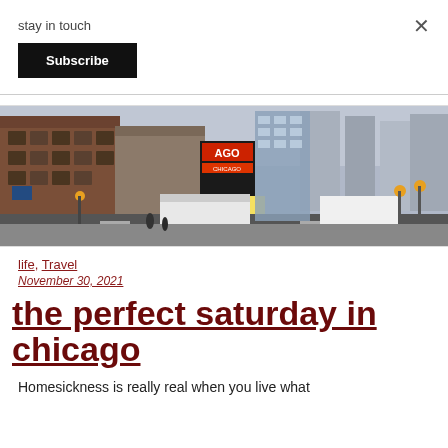stay in touch
Subscribe
×
[Figure (photo): Street view of Chicago's State Street with the Chicago Theatre marquee visible, busy traffic, tall brick buildings, and vintage street lamps.]
life, Travel
November 30, 2021
the perfect saturday in chicago
Homesickness is really real when you live what